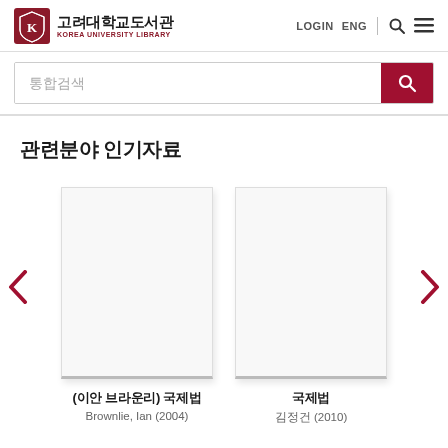[Figure (logo): Korea University Library logo with shield emblem, Korean text 고려대학교도서관, and English text KOREA UNIVERSITY LIBRARY]
LOGIN  ENG
통합검색
관련분야 인기자료
[Figure (illustration): Left chevron navigation arrow in dark red]
[Figure (illustration): Book cover placeholder - white/gray rectangle for (이안 브라운리) 국제법]
(이안 브라운리) 국제법
Brownlie, Ian (2004)
[Figure (illustration): Book cover placeholder - white/gray rectangle for 국제법]
국제법
김정건 (2010)
[Figure (illustration): Right chevron navigation arrow in dark red]